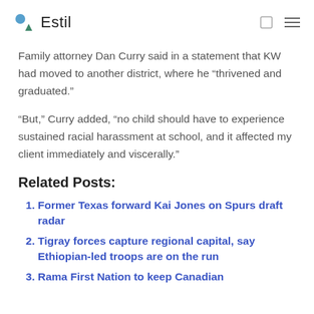Estil
Family attorney Dan Curry said in a statement that KW had moved to another district, where he “thrivened and graduated.”
“But,” Curry added, “no child should have to experience sustained racial harassment at school, and it affected my client immediately and viscerally.”
Related Posts:
Former Texas forward Kai Jones on Spurs draft radar
Tigray forces capture regional capital, say Ethiopian-led troops are on the run
Rama First Nation to keep Canadian